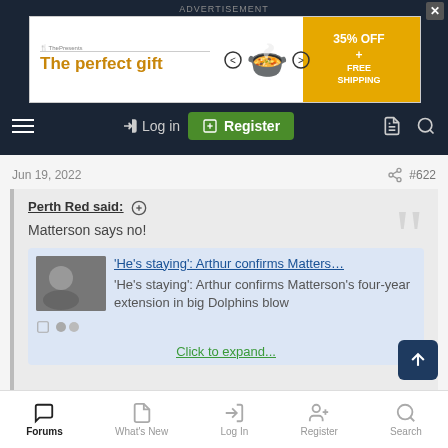ADVERTISEMENT
[Figure (other): Advertisement banner: 'The perfect gift' with food bowl image and '35% OFF + FREE SHIPPING' offer]
Log in  Register
Jun 19, 2022  #622
Perth Red said:
Matterson says no!
'He's staying': Arthur confirms Matters...
'He's staying': Arthur confirms Matterson's four-year extension in big Dolphins blow
Click to expand...
Forums  What's New  Log In  Register  Search